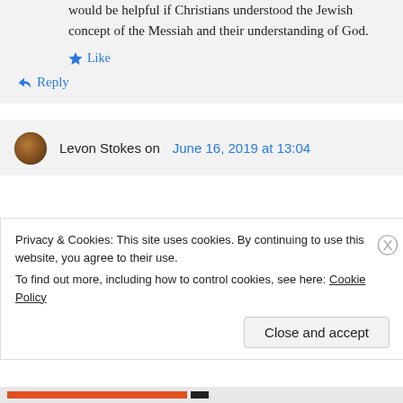would be helpful if Christians understood the Jewish concept of the Messiah and their understanding of God.
Like
Reply
Levon Stokes on June 16, 2019 at 13:04
Privacy & Cookies: This site uses cookies. By continuing to use this website, you agree to their use.
To find out more, including how to control cookies, see here: Cookie Policy
Close and accept